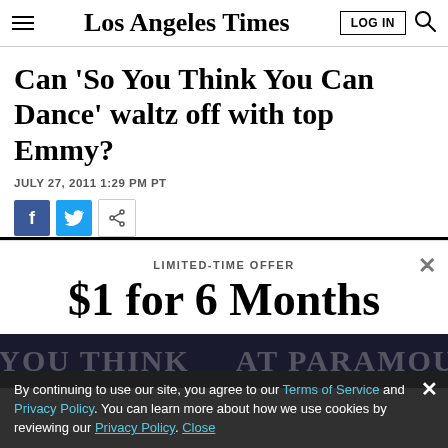Los Angeles Times | LOG IN
Can 'So You Think You Can Dance' waltz off with top Emmy?
JULY 27, 2011 1:29 PM PT
[Figure (infographic): Social share buttons: Facebook, Twitter, Share]
LIMITED-TIME OFFER
$1 for 6 Months
SUBSCRIBE NOW
By continuing to use our site, you agree to our Terms of Service and Privacy Policy. You can learn more about how we use cookies by reviewing our Privacy Policy. Close